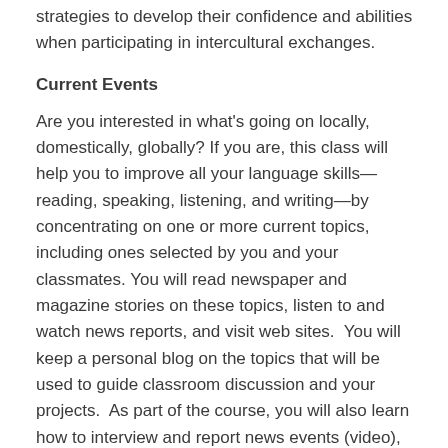strategies to develop their confidence and abilities when participating in intercultural exchanges.
Current Events
Are you interested in what's going on locally, domestically, globally? If you are, this class will help you to improve all your language skills—reading, speaking, listening, and writing—by concentrating on one or more current topics, including ones selected by you and your classmates. You will read newspaper and magazine stories on these topics, listen to and watch news reports, and visit web sites.  You will keep a personal blog on the topics that will be used to guide classroom discussion and your projects.  As part of the course, you will also learn how to interview and report news events (video), as well as write opinion columns, reviews and feature articles (newsletter). Throughout the course, you will work on editing the news videos you record and, at